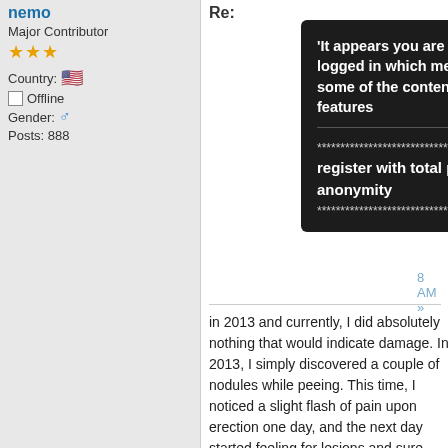nemo
Major Contributor
★★★
Country: 🇺🇸
Offline
Gender: ♂
Posts: 888
Re:
'It appears you are not registered or logged in which means you are missing some of the content and many helpful features

**************************** CLICK HERE to register with total privacy and anonymity
****************************
hope and concern
in 2013 and currently, I did absolutely nothing that would indicate damage. In 2013, I simply discovered a couple of nodules while peeing. This time, I noticed a slight flash of pain upon erection one day, and the next day started feeling for lesions and sure enough, found one exactly where the pain came from.
I will add this though, as it has to be mentioned. At almost the same time I had my flare in 2013, I was developing still undiagnosed Ulcerative